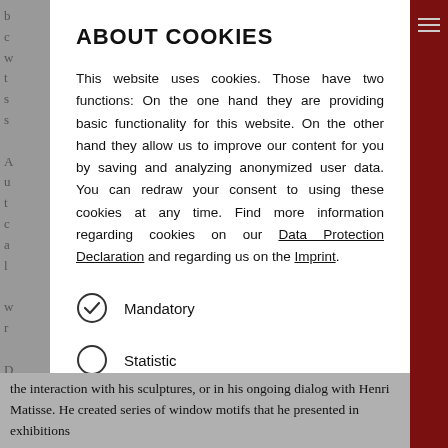ABOUT COOKIES
This website uses cookies. Those have two functions: On the one hand they are providing basic functionality for this website. On the other hand they allow us to improve our content for you by saving and analyzing anonymized user data. You can redraw your consent to using these cookies at any time. Find more information regarding cookies on our Data Protection Declaration and regarding us on the Imprint.
Mandatory (checked)
Statistic (unchecked)
Save
the interaction with his sculptures, or in his ongoing dialog with Henri Matisse. He created series of window motifs that he presented in exhibitions